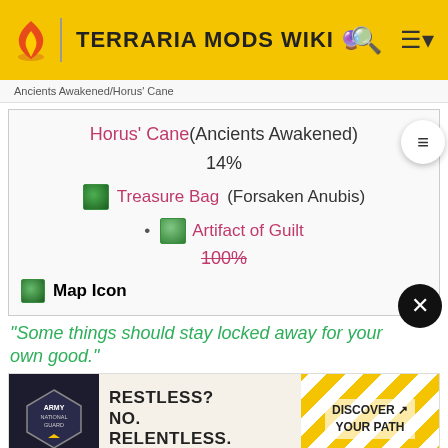TERRARIA MODS WIKI
Ancients Awakened/Horus' Cane
Horus' Cane (Ancients Awakened)
14%
Treasure Bag (Forsaken Anubis)
Artifact of Guilt
100%
Map Icon
"Some things should stay locked away for your own good."
[Figure (photo): Army National Guard advertisement: RESTLESS? NO. RELENTLESS. DISCOVER YOUR PATH]
Incredible PC game bundle, from $10
BUY FROM FANATICAL